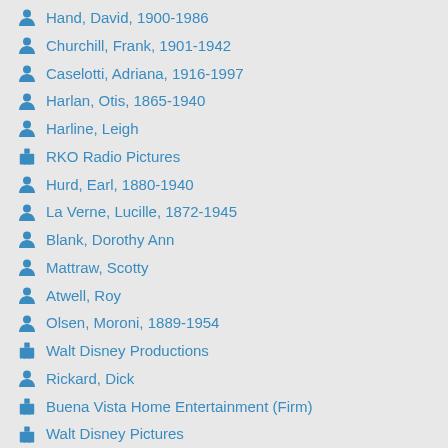Hand, David, 1900-1986
Churchill, Frank, 1901-1942
Caselotti, Adriana, 1916-1997
Harlan, Otis, 1865-1940
Harline, Leigh
RKO Radio Pictures
Hurd, Earl, 1880-1940
La Verne, Lucille, 1872-1945
Blank, Dorothy Ann
Mattraw, Scotty
Atwell, Roy
Olsen, Moroni, 1889-1954
Walt Disney Productions
Rickard, Dick
Buena Vista Home Entertainment (Firm)
Walt Disney Pictures
Sears, Ted
Smith, Paul J. (Paul Joseph), 1906-1985